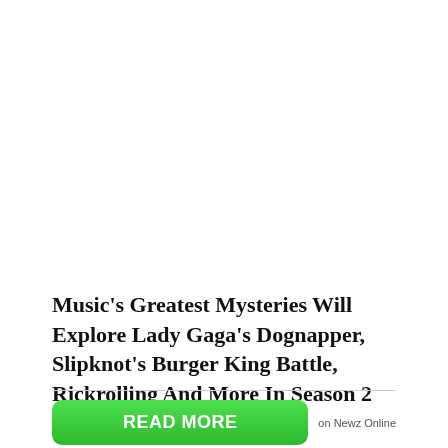Music's Greatest Mysteries Will Explore Lady Gaga's Dognapper, Slipknot's Burger King Battle, Rickrolling And More In Season 2 On AXS TV
READ MORE on Newz Online